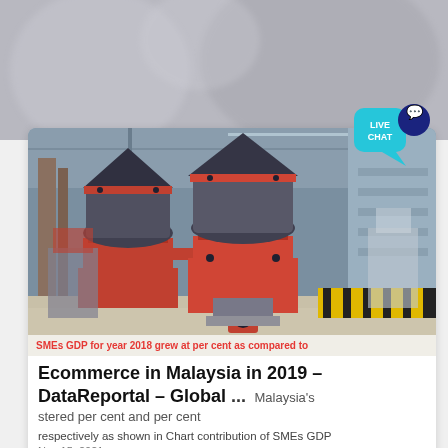[Figure (photo): Top background area showing blurred industrial machinery]
[Figure (photo): Live chat bubble icon in teal and dark navy blue in top right corner]
[Figure (photo): Industrial facility interior with large cone crusher machines, red and grey heavy machinery on gravel floor inside a warehouse]
SMEs GDP for year 2018 grew at per cent as compared to
Ecommerce in Malaysia in 2019 – DataReportal – Global ...
Malaysia's stered per cent and per cent respectively as shown in Chart contribution of SMEs GDP
Nov 15, 2021
to Malaysia's GDP rose to per cent from per cent in the